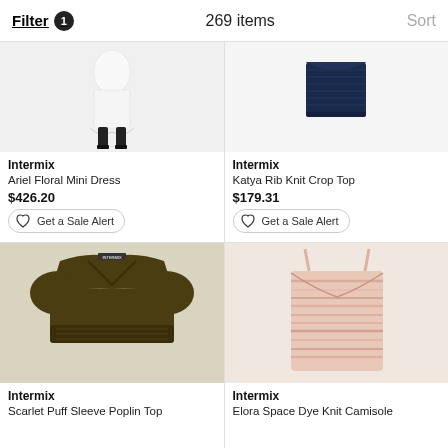Filter 1   269 items   Sort
[Figure (photo): Intermix Ariel Floral Mini Dress product photo — model wearing white floral mini dress with black knee-high boots, light gray background]
Intermix
Ariel Floral Mini Dress
$426.20
[Figure (photo): Intermix Katya Rib Knit Crop Top product photo — navy blue ribbed knit crop top, light gray background]
Intermix
Katya Rib Knit Crop Top
$179.31
[Figure (photo): Intermix Scarlet Puff Sleeve Poplin Top product photo — olive/dark khaki puff sleeve crop top with smocked hem, dark background]
Intermix
Scarlet Puff Sleeve Poplin Top
[Figure (photo): Intermix Elora Space Dye Knit Camisole product photo — blush/pink space dye knit camisole with thin straps]
Intermix
Elora Space Dye Knit Camisole